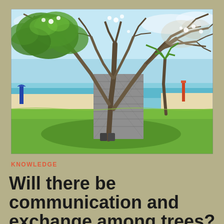[Figure (photo): Large tropical tree with spreading bare branches and some white flowers, growing near a small stone building with a decorative pattern, set on a grassy lawn beside a beach with turquoise water and blue sky in the background.]
KNOWLEDGE
Will there be communication and exchange among trees?